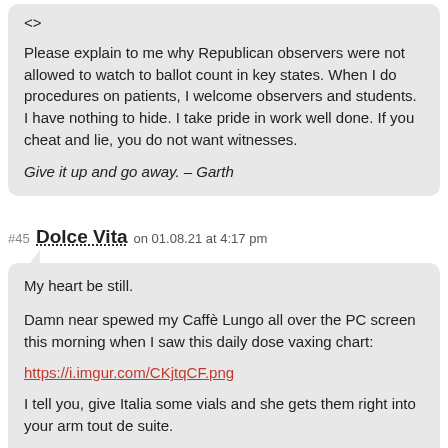<>
Please explain to me why Republican observers were not allowed to watch to ballot count in key states. When I do procedures on patients, I welcome observers and students. I have nothing to hide. I take pride in work well done. If you cheat and lie, you do not want witnesses.
Give it up and go away. – Garth
#45 Dolce Vita on 01.08.21 at 4:17 pm
My heart be still.
Damn near spewed my Caffè Lungo all over the PC screen this morning when I saw this daily dose vaxing chart:
https://i.imgur.com/CKjtqCF.png
I tell you, give Italia some vials and she gets them right into your arm tout de suite.
It helps though having a country 1/3 the size of BC, 1,833,975 doses at the ready and 286 hospitals in on the vax'ng action.